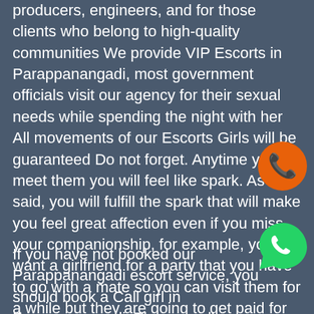producers, engineers, and for those clients who belong to high-quality communities We provide VIP Escorts in Parappanangadi, most government officials visit our agency for their sexual needs while spending the night with her All movements of our Escorts Girls will be guaranteed Do not forget. Anytime you meet them you will feel like spark. As we said, you will fulfill the spark that will make you feel great affection even if you miss your companionship, for example, you want a girlfriend for a party that you have to go with a mate so you can visit them for a while but they are going to get paid for it.
[Figure (illustration): Orange circle with white phone handset icon (call button)]
[Figure (illustration): Green WhatsApp logo icon with speech bubble]
If you have not booked our Parappanangadi escort service, you should book a Call girl in Parappanangadi. They are all so confident to give you complete satisfaction from their funny and